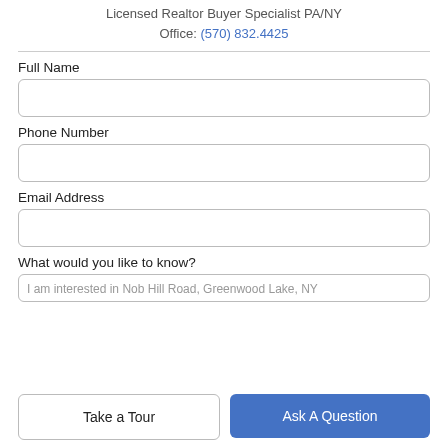Licensed Realtor Buyer Specialist PA/NY
Office: (570) 832.4425
Full Name
Phone Number
Email Address
What would you like to know?
I am interested in Nob Hill Road, Greenwood Lake, NY
Take a Tour
Ask A Question